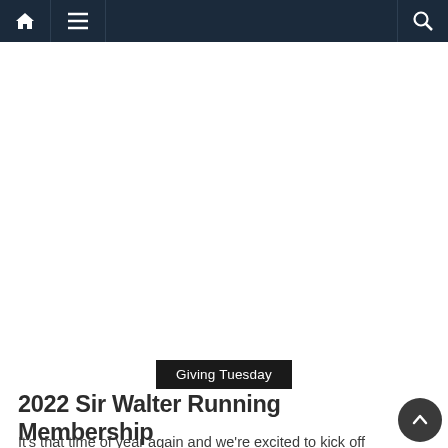Navigation bar with home, menu, and search icons
[Figure (other): Large white blank content area / advertisement placeholder]
Giving Tuesday
2022 Sir Walter Running Membership
It's that time of year again and we're excited to kick off